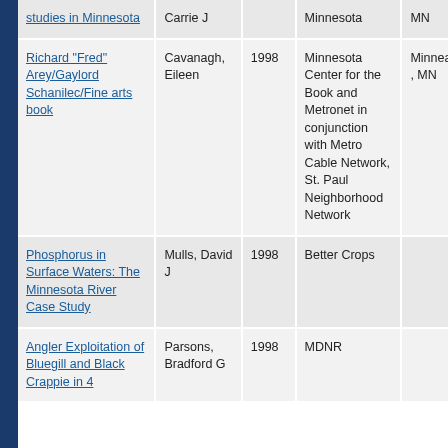| Title | Author | Year | Publisher | State |
| --- | --- | --- | --- | --- |
| studies in Minnesota | Carrie J |  | Minnesota | MN |
| Richard "Fred" Arey/Gaylord Schanilec/Fine arts book | Cavanagh, Eileen | 1998 | Minnesota Center for the Book and Metronet in conjunction with Metro Cable Network, St. Paul Neighborhood Network | Minnea , MN |
| Phosphorus in Surface Waters: The Minnesota River Case Study | Mulls, David J | 1998 | Better Crops |  |
| Angler Exploitation of Bluegill and Black Crappie in 4 | Parsons, Bradford G | 1998 | MDNR |  |